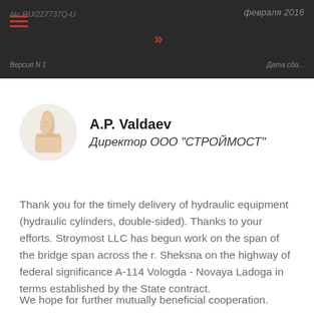RU/227737Q-U  Версия N 1  Дата сда...  февраля 2016
[Figure (photo): Circular avatar with thumbs-up hand gesture icon on light beige background]
A.P. Valdaev
Директор ООО "СТРОЙМОСТ"
Thank you for the timely delivery of hydraulic equipment (hydraulic cylinders, double-sided). Thanks to your efforts. Stroymost LLC has begun work on the span of the bridge span across the r. Sheksna on the highway of federal significance A-114 Vologda - Novaya Ladoga in terms established by the State contract.
We hope for further mutually beneficial cooperation.